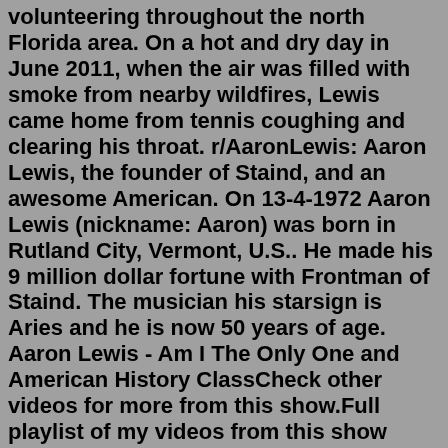volunteering throughout the north Florida area. On a hot and dry day in June 2011, when the air was filled with smoke from nearby wildfires, Lewis came home from tennis coughing and clearing his throat. r/AaronLewis: Aaron Lewis, the founder of Staind, and an awesome American. On 13-4-1972 Aaron Lewis (nickname: Aaron) was born in Rutland City, Vermont, U.S.. He made his 9 million dollar fortune with Frontman of Staind. The musician his starsign is Aries and he is now 50 years of age. Aaron Lewis - Am I The Only One and American History ClassCheck other videos for more from this show.Full playlist of my videos from this show https://youtub... Mar 19, 2006 · Geoff Ziezulewicz. • March 19, 2006. Staind's Aaron Lewis performs for U.S. troops in Baumholder, Germany, Friday night. (Raymond T. Conway / S&S) Like many Americans, Aaron Lewis the civilian ... Police originally identified Lewis as Aaron, but later clarified his name was spelled Arron. Lewis has a criminal history in Kansas, Utah and Arkansas. Minden said. Carter was sentenced to six